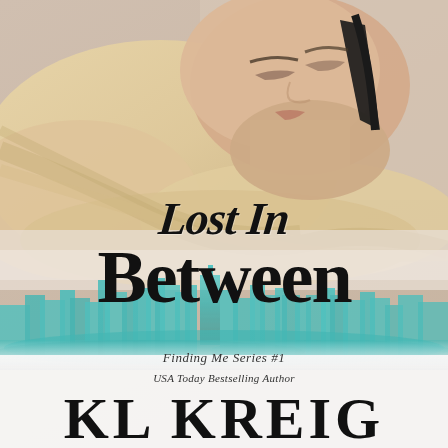[Figure (photo): Book cover showing a blonde woman lying down with eyes closed, wearing a black bra strap, resting on white fabric. A teal watercolor city skyline fills the lower portion of the cover.]
Lost In Between
Finding Me Series #1
USA Today Bestselling Author
KL KREIG